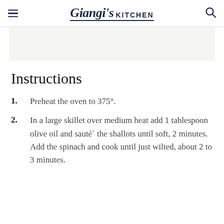Giangi's KITCHEN
Instructions
Preheat the oven to 375°.
In a large skillet over medium heat add 1 tablespoon olive oil and sauté` the shallots until soft, 2 minutes. Add the spinach and cook until just wilted, about 2 to 3 minutes.